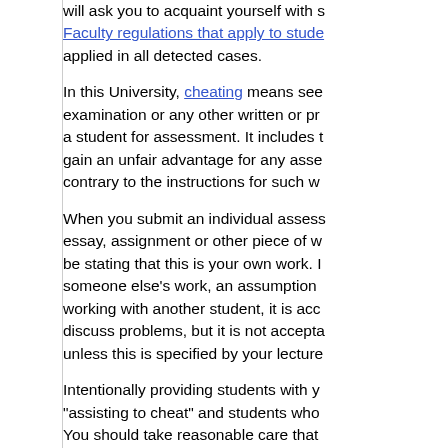will ask you to acquaint yourself with Faculty regulations that apply to students applied in all detected cases.
In this University, cheating means seeing examination or any other written or produced a student for assessment. It includes to gain an unfair advantage for any assessment contrary to the instructions for such work.
When you submit an individual assessment, essay, assignment or other piece of work, be stating that this is your own work. It is someone else's work, an assumption working with another student, it is acceptable to discuss problems, but it is not acceptable unless this is specified by your lecturer.
Intentionally providing students with your work is "assisting to cheat" and students who do so. You should take reasonable care that your work is deliberately obtained by other students, for example, work in progress on the hard drives of computers, or work to other students. If you believe contact your lecturer as soon as possible.